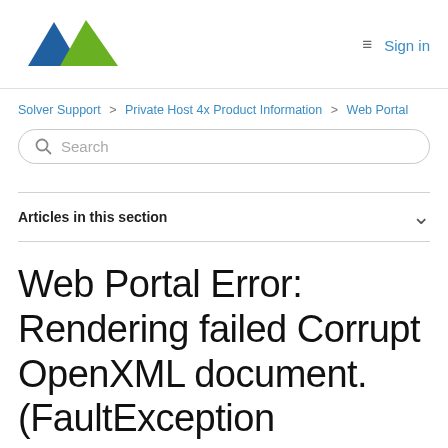Solver Support logo | Sign in
Solver Support > Private Host 4x Product Information > Web Portal
Search
Articles in this section
Web Portal Error: Rendering failed Corrupt OpenXML document. (FaultException